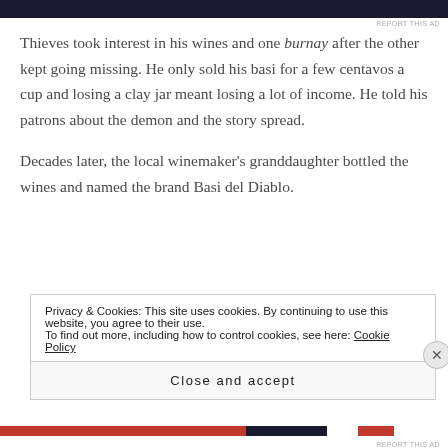[Figure (other): Dark navy/black advertisement banner at top of page]
REPORT THIS AD
Thieves took interest in his wines and one burnay after the other kept going missing. He only sold his basi for a few centavos a cup and losing a clay jar meant losing a lot of income. He told his patrons about the demon and the story spread.
Decades later, the local winemaker’s granddaughter bottled the wines and named the brand Basi del Diablo.
Privacy & Cookies: This site uses cookies. By continuing to use this website, you agree to their use.
To find out more, including how to control cookies, see here: Cookie Policy
Close and accept
[Figure (other): Colored bar at bottom of page with orange, black, white, and red segments]
REPORT THIS AD